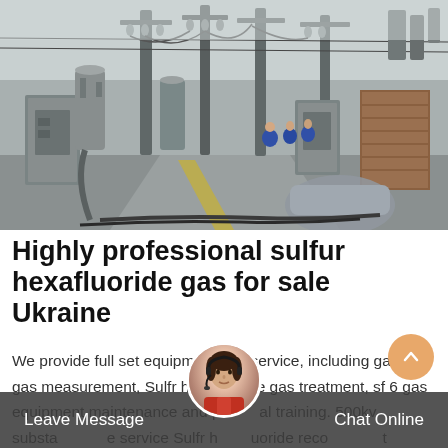[Figure (photo): Outdoor electrical substation with large equipment, cables, gray metal boxes, and workers in blue overalls visible in the background on a cloudy day]
Highly professional sulfur hexafluoride gas for sale Ukraine
We provide full set equipment and service, including gaz sf6 gas measurement, Sulfr hexafluoride gas treatment, sf 6 gas equipment maintenance and personal training. 500kv substation elite service Sulfr hexafluoride recovery unit
Leave Message   Chat Online